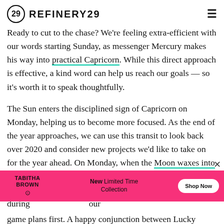REFINERY29
Ready to cut to the chase? We're feeling extra-efficient with our words starting Sunday, as messenger Mercury makes his way into practical Capricorn. While this direct approach is effective, a kind word can help us reach our goals — so it's worth it to speak thoughtfully.
The Sun enters the disciplined sign of Capricorn on Monday, helping us to become more focused. As the end of the year approaches, we can use this transit to look back over 2020 and consider new projects we'd like to take on for the year ahead. On Monday, when the Moon waxes into her first quarter in ambitious Aries. We'll be tempted to dive into a project without planning out our next move during[...] our game plans first. A happy conjunction between Lucky
[Figure (other): Pink advertisement banner for Tabitha Brown New Limited Time Collection with Shop Now button]